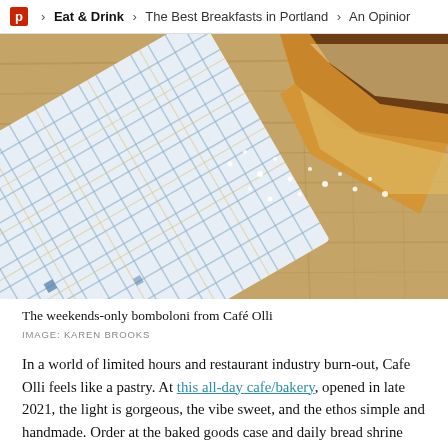P > Eat & Drink > The Best Breakfasts in Portland > An Opinion
[Figure (photo): Overhead photo of a checkered blue and white cloth napkin on a wooden cutting board, with a piece of bomboloni pastry and scattered sugar crystals]
The weekends-only bomboloni from Café Olli
IMAGE: KAREN BROOKS
In a world of limited hours and restaurant industry burn-out, Cafe Olli feels like a pastry. At this all-day cafe/bakery, opened in late 2021, the light is gorgeous, the vibe sweet, and the ethos simple and handmade. Order at the baked goods case and daily bread shrine and stick around for coffee and breakfast: You want pastry